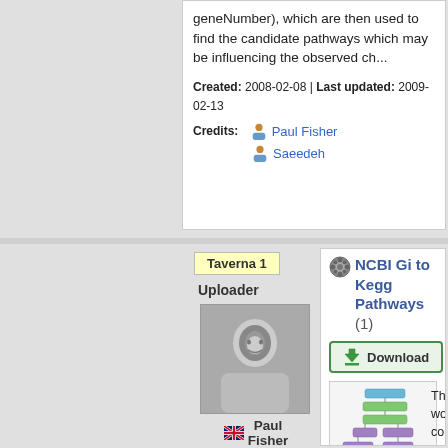geneNumber), which are then used to find the candidate pathways which may be influencing the observed ch...
Created: 2008-02-08 | Last updated: 2009-02-13
Credits: Paul Fisher, Saeedeh
Taverna 1
Uploader
[Figure (photo): Black and white photo of uploader Paul Fisher]
Paul Fisher
NCBI Gi to Kegg Pathways (1)
Download
[Figure (flowchart): Workflow diagram showing NCBI Gi to Kegg Pathways flowchart with purple and green boxes connected by lines]
This workflow converts a list of NCBI gi